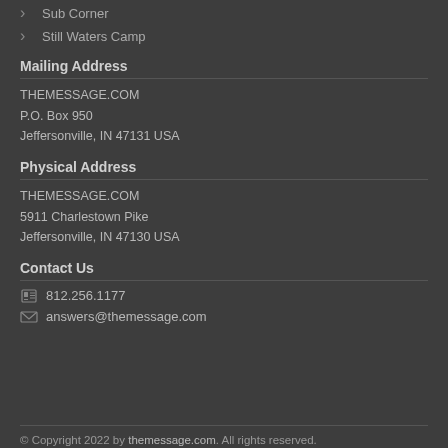Sub Corner
Still Waters Camp
Mailing Address
THEMESSAGE.COM
P.O. Box 950
Jeffersonville, IN 47131 USA
Physical Address
THEMESSAGE.COM
5911 Charlestown Pike
Jeffersonville, IN 47130 USA
Contact Us
812.256.1177
answers@themessage.com
© Copyright 2022 by themessage.com. All rights reserved.